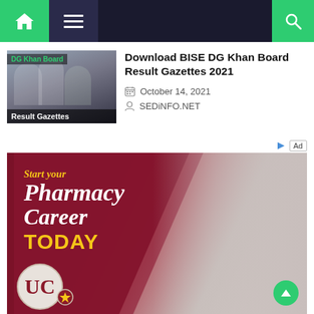Navigation bar with home, menu, and search icons
[Figure (photo): Thumbnail image showing children with text overlay 'DG Khan Board Result Gazettes' in green and white on dark background]
Download BISE DG Khan Board Result Gazettes 2021
October 14, 2021
SEDiNFO.NET
[Figure (photo): Advertisement for pharmacy career program showing a smiling man with dreadlocks and glasses. Text reads: Start your Pharmacy Career TODAY. UC logo visible at bottom left.]